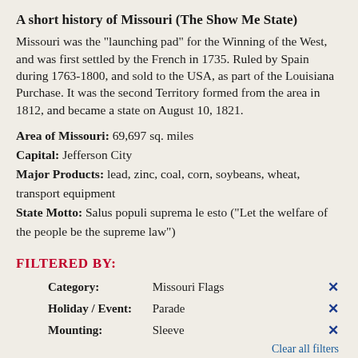A short history of Missouri (The Show Me State)
Missouri was the "launching pad" for the Winning of the West, and was first settled by the French in 1735. Ruled by Spain during 1763-1800, and sold to the USA, as part of the Louisiana Purchase. It was the second Territory formed from the area in 1812, and became a state on August 10, 1821.
Area of Missouri: 69,697 sq. miles
Capital: Jefferson City
Major Products: lead, zinc, coal, corn, soybeans, wheat, transport equipment
State Motto: Salus populi suprema le esto ("Let the welfare of the people be the supreme law")
FILTERED BY:
|  |  |
| --- | --- |
| Category: | Missouri Flags |
| Holiday / Event: | Parade |
| Mounting: | Sleeve |